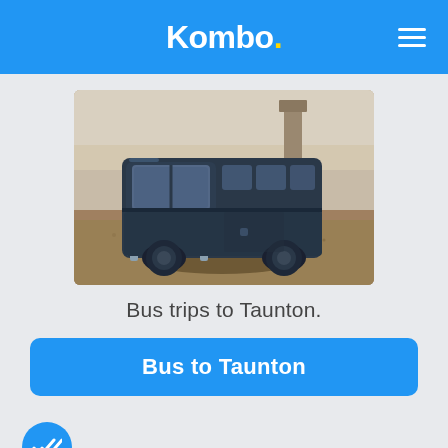Kombo.
[Figure (photo): A dark blue vintage VW bus toy model on sandy ground with blurred background, photographed close-up.]
Bus trips to Taunton.
Bus to Taunton
[Figure (other): Blue circular badge with double checkmark icon]
Search ticket